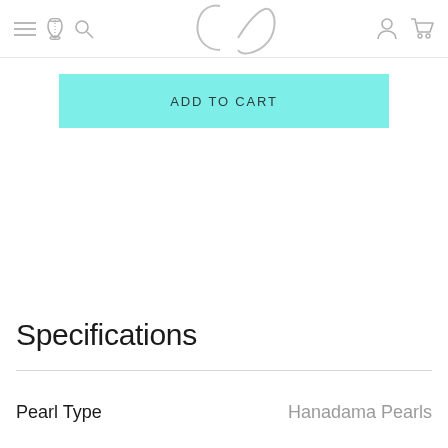Navigation bar with menu, phone, search icons on left; logo in center; user and cart icons on right
ADD TO CART
Specifications
| Attribute | Value |
| --- | --- |
| Pearl Type | Hanadama Pearls |